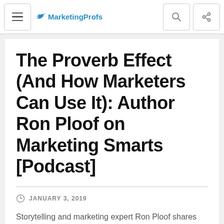MarketingProfs
The Proverb Effect (And How Marketers Can Use It): Author Ron Ploof on Marketing Smarts [Podcast]
JANUARY 3, 2019
Storytelling and marketing expert Ron Ploof shares insights from his new book, The